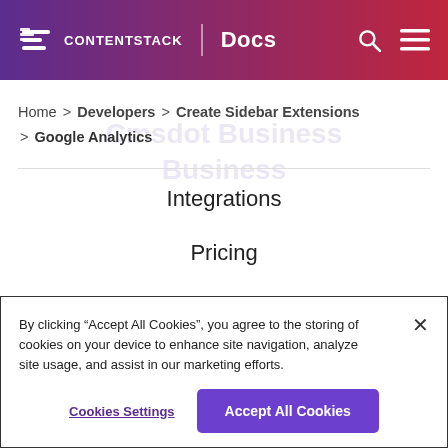CONTENTSTACK | Docs
Home > Developers > Create Sidebar Extensions > Google Analytics
Integrations
Pricing
ROI Calculator
Customer Success
By clicking “Accept All Cookies”, you agree to the storing of cookies on your device to enhance site navigation, analyze site usage, and assist in our marketing efforts.
Cookies Settings | Accept All Cookies